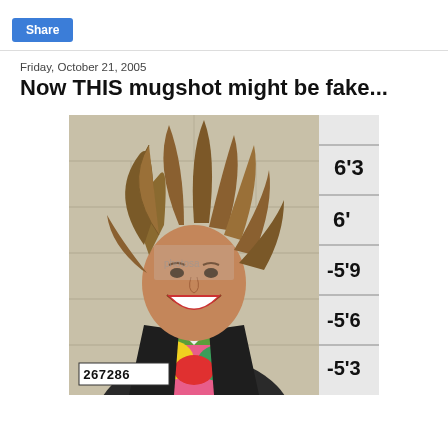Share
Friday, October 21, 2005
Now THIS mugshot might be fake...
[Figure (photo): Mugshot photo of a man with wild disheveled hair, smiling broadly, wearing a dark blazer over a colorful floral shirt. A height measurement chart is visible on the right side showing markings at 6'3, 6', 5'9, 5'6, and 5'3. A booking number placard reading 267286 is visible at the bottom left of the photo.]